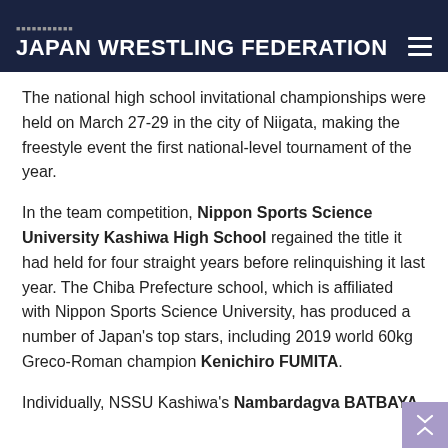JAPAN WRESTLING FEDERATION
The national high school invitational championships were held on March 27-29 in the city of Niigata, making the freestyle event the first national-level tournament of the year.
In the team competition, Nippon Sports Science University Kashiwa High School regained the title it had held for four straight years before relinquishing it last year. The Chiba Prefecture school, which is affiliated with Nippon Sports Science University, has produced a number of Japan's top stars, including 2019 world 60kg Greco-Roman champion Kenichiro FUMITA.
Individually, NSSU Kashiwa's Nambardagva BATBAYA